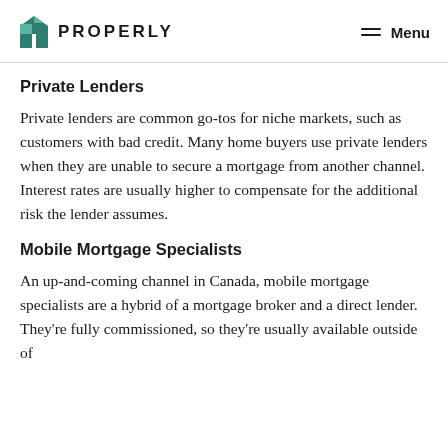PROPERLY | Menu
Private Lenders
Private lenders are common go-tos for niche markets, such as customers with bad credit. Many home buyers use private lenders when they are unable to secure a mortgage from another channel. Interest rates are usually higher to compensate for the additional risk the lender assumes.
Mobile Mortgage Specialists
An up-and-coming channel in Canada, mobile mortgage specialists are a hybrid of a mortgage broker and a direct lender. They're fully commissioned, so they're usually available outside of